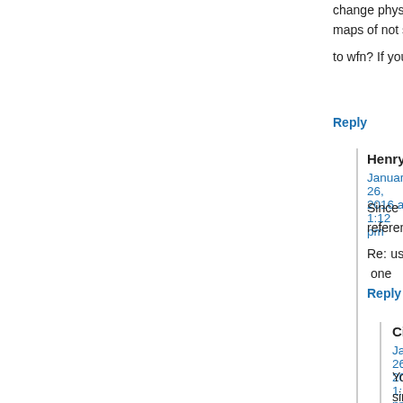change physical principles. In such a delicate case I d... arbitrary reference state. About the difference maps of... not seen such a map either. About wfn of triplet C2, h... to wfn? If you write fchk by density=current keyword, i... you can use fchk for AIM analysis directly.
Reply
Henry Rzepa says:
January 26, 2016 at 1:12 pm
Since the total density is in principle a directly obs... not sure I understand the issue regarding reference...
Re: use of .fchk files. This might be fine for QTA... program does not accept them. But I am trying one...
Reply
Cina Foroutan-Nejad says:
January 26, 2016 at 1:27 pm
You can convert fchk to WFN/X by means o... wfn/x for ELF computations. About difference... of singlet and triplet species seems OK to me b... density from a particular density. For exam... fragments of a complex from that of the compl... fragment densities violates PEP. Though, as... violation of PEP in this case. I am sorry, bu... party is a bit difficult. Some times I need to co... now!